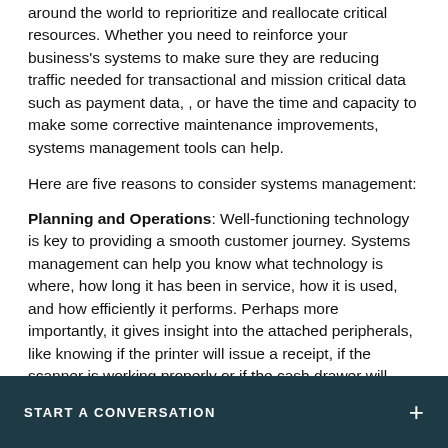around the world to reprioritize and reallocate critical resources. Whether you need to reinforce your business's systems to make sure they are reducing traffic needed for transactional and mission critical data such as payment data, , or have the time and capacity to make some corrective maintenance improvements, systems management tools can help.
Here are five reasons to consider systems management:
Planning and Operations: Well-functioning technology is key to providing a smooth customer journey. Systems management can help you know what technology is where, how long it has been in service, how it is used, and how efficiently it performs. Perhaps more importantly, it gives insight into the attached peripherals, like knowing if the printer will issue a receipt, if the scanner is working properly or if the cash drawer will open to accept
START A CONVERSATION